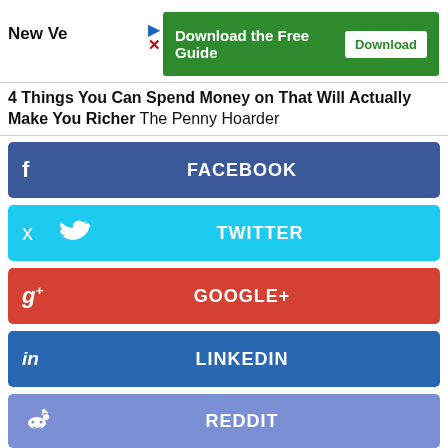[Figure (other): Green advertisement banner: 'Download the Free Guide' with a Download button]
4 Things You Can Spend Money on That Will Actually Make You Richer  The Penny Hoarder
[Figure (infographic): Social media share buttons: Facebook, Twitter, Google+, LinkedIn, Reddit, Print]
TSVETANA PARASKOVA
Tsvetana is a writer for Oilprice.com with over a decade of experience